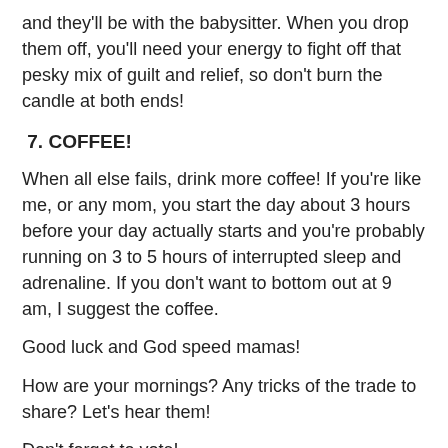and they'll be with the babysitter. When you drop them off, you'll need your energy to fight off that pesky mix of guilt and relief, so don't burn the candle at both ends!
7. COFFEE!
When all else fails, drink more coffee! If you're like me, or any mom, you start the day about 3 hours before your day actually starts and you're probably running on 3 to 5 hours of interrupted sleep and adrenaline. If you don't want to bottom out at 9 am, I suggest the coffee.
Good luck and God speed mamas!
How are your mornings? Any tricks of the trade to share? Let's hear them!
Don't forget to vote!